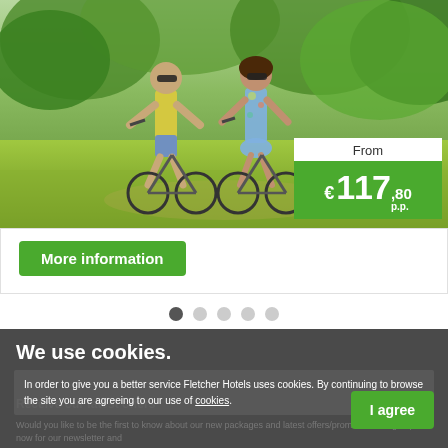[Figure (photo): Two people riding bicycles outdoors in green nature/trees, smiling, wearing sunglasses. A price box overlays the bottom-right showing 'From €117,80 p.p.']
More information
[Figure (other): Carousel navigation dots - 5 dots, first one active (dark), rest inactive (light gray)]
We use cookies.
In order to give you a better service Fletcher Hotels uses cookies. By continuing to browse the site you are agreeing to our use of cookies.
Receive our latest offers
Would you like to be the first to know about our new packages and latest offers/promotions? Sign up now for our newsletter and
I agree